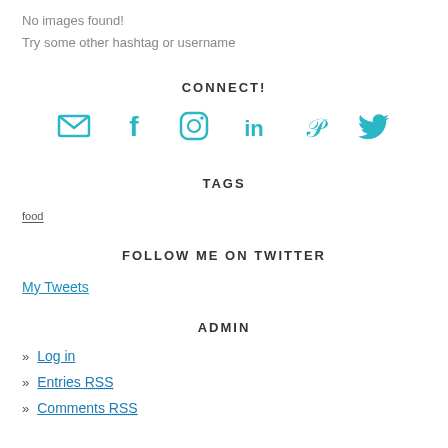No images found!
Try some other hashtag or username
CONNECT!
[Figure (infographic): Row of social media icons in teal: email/envelope, Facebook, Instagram, LinkedIn, Pinterest, Twitter]
TAGS
food
FOLLOW ME ON TWITTER
My Tweets
ADMIN
» Log in
» Entries RSS
» Comments RSS